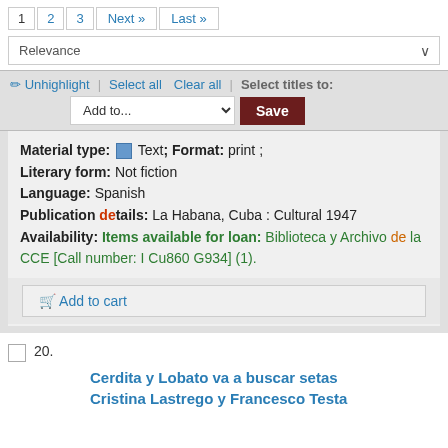1  2  3  Next »  Last »
Relevance
✏ Unhighlight | Select all  Clear all | Select titles to:
Add to...  Save
Material type: Text; Format: print ; Literary form: Not fiction
Language: Spanish
Publication details: La Habana, Cuba : Cultural 1947
Availability: Items available for loan: Biblioteca y Archivo de la CCE [Call number: I Cu860 G934] (1).
🛒 Add to cart
20.
Cerdita y Lobato va a buscar setas Cristina Lastrego y Francesco Testa